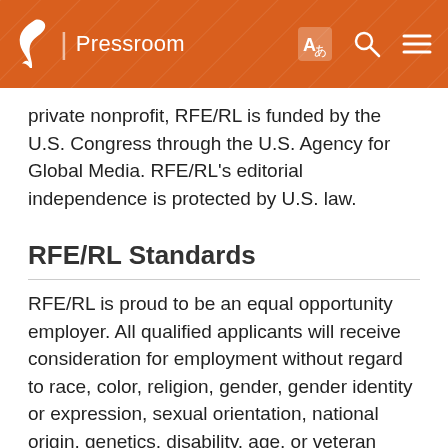/ Pressroom
private nonprofit, RFE/RL is funded by the U.S. Congress through the U.S. Agency for Global Media. RFE/RL's editorial independence is protected by U.S. law.
RFE/RL Standards
RFE/RL is proud to be an equal opportunity employer. All qualified applicants will receive consideration for employment without regard to race, color, religion, gender, gender identity or expression, sexual orientation, national origin, genetics, disability, age, or veteran status. Positions at RFE/RL are considered Public Trust Positions, with appointment contingent upon the positive outcome of a background investigation.